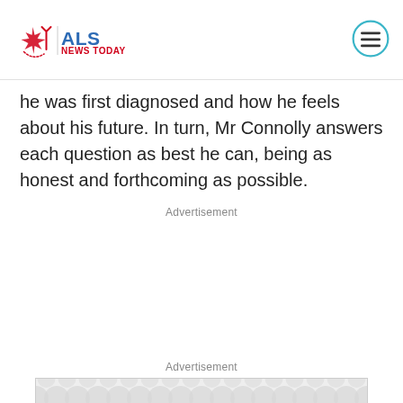ALS NEWS TODAY
he was first diagnosed and how he feels about his future. In turn, Mr Connolly answers each question as best he can, being as honest and forthcoming as possible.
Advertisement
[Figure (other): Advertisement placeholder with decorative circle pattern]
Advertisement
[Figure (other): Advertisement placeholder with decorative circle pattern]